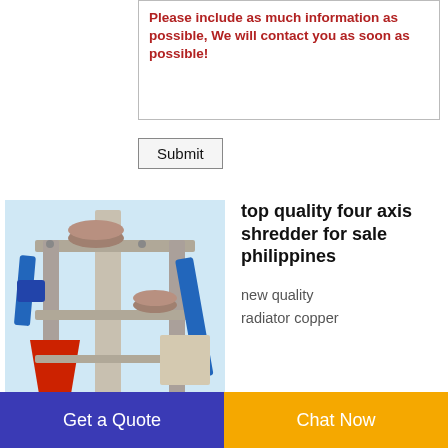Please include as much information as possible, We will contact you as soon as possible!
Submit
[Figure (photo): Industrial four-axis shredder machine with red and blue components, pipes, and metal framework against a light blue sky background.]
top quality four axis shredder for sale philippines
new quality radiator copper
Get a Quote
Chat Now